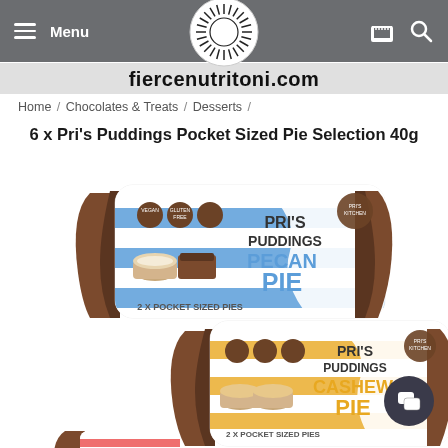Menu  [logo]  [cart] [search]
fiercenutritoni.com
Home / Chocolates & Treats / Desserts /
6 x Pri's Puddings Pocket Sized Pie Selection 40g
[Figure (photo): Two packages of Pri's Puddings pocket sized pies. Top package is blue and white striped labeled 'PRI'S PUDDINGS PECAN PIE - 2 X POCKET SIZED PIES'. Bottom package is gold/yellow and white striped labeled 'PRI'S PUDDINGS CASHEW PIE - 2 X POCKET SIZED PIES'. Both show mini chocolate-topped pudding cups.]